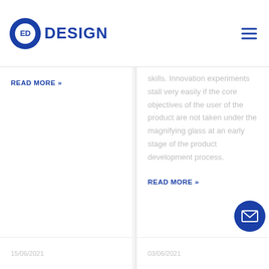ED DESIGN
READ MORE »
skills. Innovation experiments stall very easily if the core objectives of the user of the product are not taken under the magnifying glass at an early stage of the product development process.
READ MORE »
15/06/2021
03/06/2021